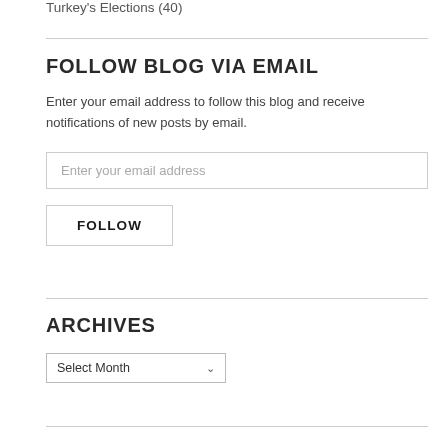Turkey's Elections (40)
FOLLOW BLOG VIA EMAIL
Enter your email address to follow this blog and receive notifications of new posts by email.
Enter your email address
FOLLOW
ARCHIVES
Select Month